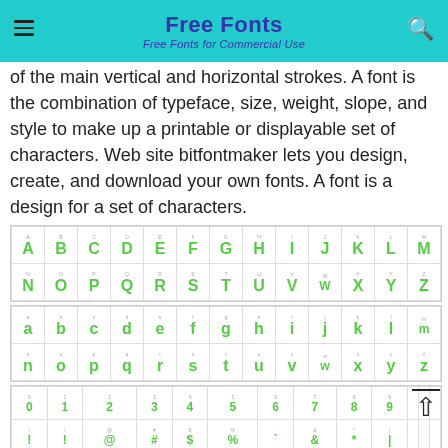Free Fonts — Free Fonts for Commercial Use
of the main vertical and horizontal strokes. A font is the combination of typeface, size, weight, slope, and style to make up a printable or displayable set of characters. Web site bitfontmaker lets you design, create, and download your own fonts. A font is a design for a set of characters.
[Figure (illustration): Grid of uppercase alphabet characters A–N (top row) and N–Z (bottom row) rendered in a custom pixel/bitmap font style in green, each cell labeled with the letter.]
[Figure (illustration): Grid of lowercase alphabet characters a–m (top row) and n–z (bottom row) rendered in the same custom font in green.]
[Figure (illustration): Grid of digits 0–9 and special/punctuation characters rendered in the same custom font in green.]